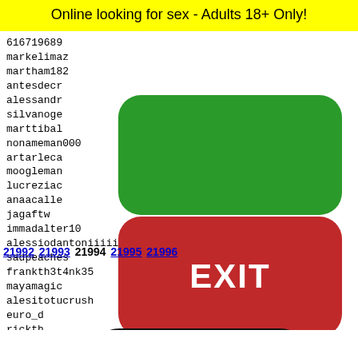Online looking for sex - Adults 18+ Only!
616719689
markelimaz
martham1821
antesdecr
alessandr
silvanoge
marttibal
nonameman000
artarleca
moogleman
lucreziac
anaacalle
jagaftw
immadalter10
alessiodantoniiiii
sadpeaches
frankth3t4nk35
mayamagic
alesitotucrush
euro_di
rickth
wildgr
mmiria
soybec
jeniso
[Figure (other): Green rounded rectangle button (no label)]
[Figure (other): Red rounded rectangle EXIT button with white EXIT text]
21992 21993 21994 21995 21996
[Figure (illustration): Yellow padel/ping-pong racket with black dots pattern and a cartoon frog face at the bottom]